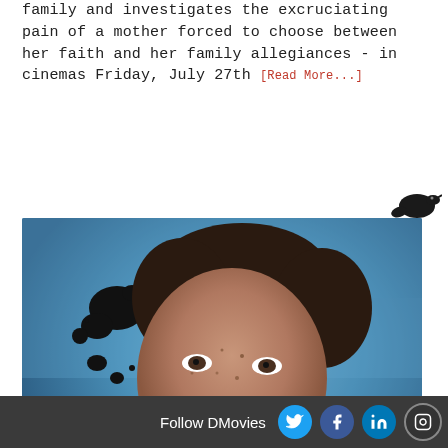family and investigates the excruciating pain of a mother forced to choose between her faith and her family allegiances - in cinemas Friday, July 27th [Read More...]
[Figure (photo): Movie card for 'A Fantastic Woman (Una Mujer Fantástica)' directed by Sebastián Lelio, 2017. Shows a woman's face with freckles and dark hair on a blue background with ink blots, wearing a gold glittery outfit. Title and credits overlaid in white text at the bottom.]
Follow DMovies [Twitter] [Facebook] [LinkedIn] [Instagram] [YouTube]